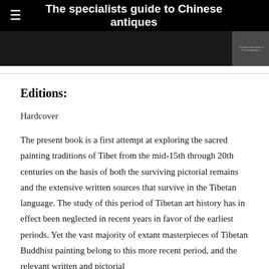The specialists guide to Chinese antiques
[Figure (photo): Image bar with dark banner and thumbnail]
Editions:
Hardcover
The present book is a first attempt at exploring the sacred painting traditions of Tibet from the mid-15th through 20th centuries on the basis of both the surviving pictorial remains and the extensive written sources that survive in the Tibetan language. The study of this period of Tibetan art history has in effect been neglected in recent years in favor of the earliest periods. Yet the vast majority of extant masterpieces of Tibetan Buddhist painting belong to this more recent period, and the relevant written and pictorial